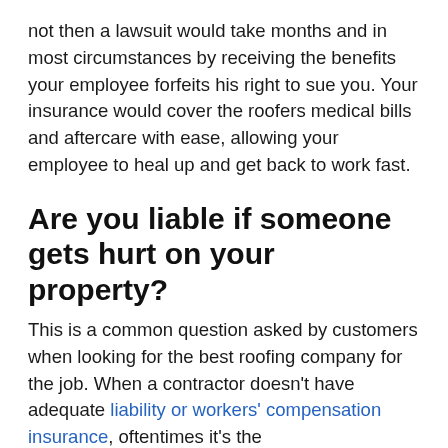not then a lawsuit would take months and in most circumstances by receiving the benefits your employee forfeits his right to sue you. Your insurance would cover the roofers medical bills and aftercare with ease, allowing your employee to heal up and get back to work fast.
Are you liable if someone gets hurt on your property?
This is a common question asked by customers when looking for the best roofing company for the job. When a contractor doesn't have adequate liability or workers' compensation insurance, oftentimes it's the